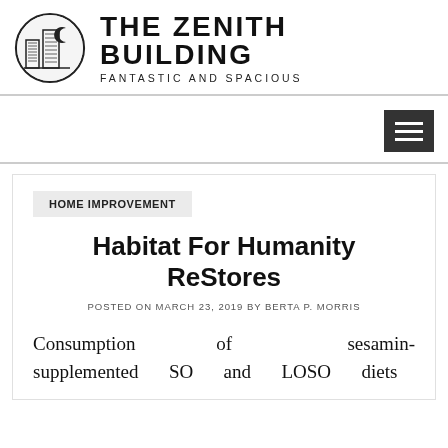[Figure (logo): The Zenith Building logo — a circular emblem with illustrated skyscrapers and a crescent moon, beside bold text reading THE ZENITH BUILDING and subtitle FANTASTIC AND SPACIOUS]
[Figure (other): Navigation bar with hamburger menu icon (three white horizontal lines on dark grey background) at right]
HOME IMPROVEMENT
Habitat For Humanity ReStores
POSTED ON MARCH 23, 2019 BY BERTA P. MORRIS
Consumption of sesamin-supplemented SO and LOSO diets